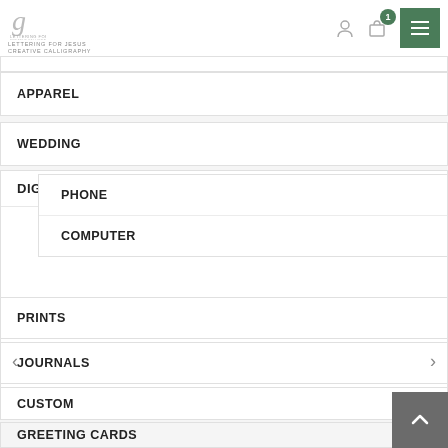Lettering for Jesus - Navigation Menu
APPAREL
WEDDING
DIGITAL
PHONE
COMPUTER
PRINTS
JOURNALS
CUSTOM
GREETING CARDS